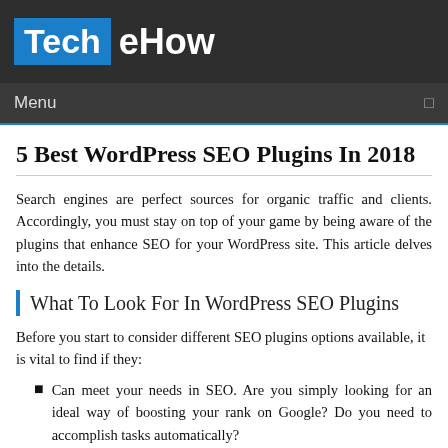Tech eHow
Menu
5 Best WordPress SEO Plugins In 2018
Search engines are perfect sources for organic traffic and clients. Accordingly, you must stay on top of your game by being aware of the plugins that enhance SEO for your WordPress site. This article delves into the details.
What To Look For In WordPress SEO Plugins
Before you start to consider different SEO plugins options available, it is vital to find if they:
Can meet your needs in SEO. Are you simply looking for an ideal way of boosting your rank on Google? Do you need to accomplish tasks automatically?